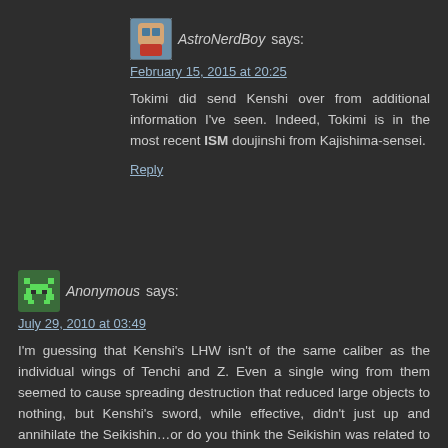AstroNerdBoy says:
February 15, 2015 at 20:25
Tokimi did send Kenshi over from additional information I've seen. Indeed, Tokimi is in the most recent ISM doujinshi from Kajishima-sensei.
Reply
Anonymous says:
July 29, 2010 at 03:49
I'm guessing that Kenshi's LHW isn't of the same caliber as the individual wings of Tenchi and Z. Even a single wing from them seemed to cause spreading destruction that reduced large objects to nothing, but Kenshi's sword, while effective, didn't just up and annihilate the Seikishin…or do you think the Seikishin was related to the Choushin as well, such that it was resistant on a cosmic level?